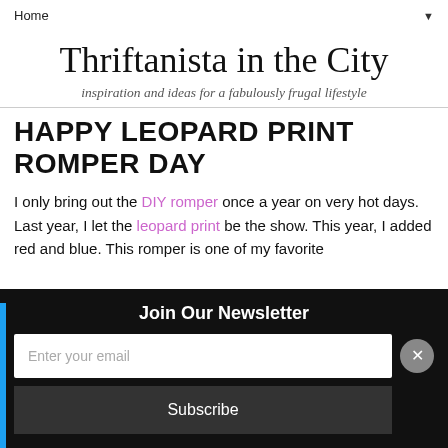Home ▼
Thriftanista in the City
inspiration and ideas for a fabulously frugal lifestyle
HAPPY LEOPARD PRINT ROMPER DAY
I only bring out the DIY romper once a year on very hot days. Last year, I let the leopard print be the show. This year, I added red and blue. This romper is one of my favorite
Join Our Newsletter
Enter your email
Subscribe